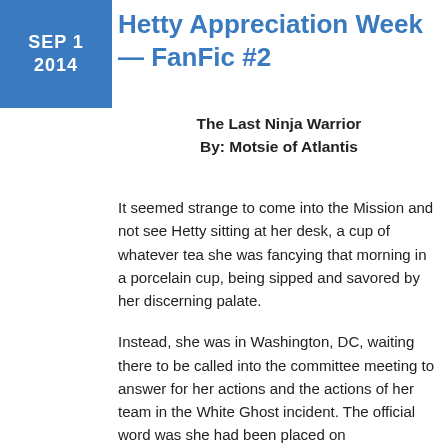SEP 1
2014
Hetty Appreciation Week — FanFic #2
The Last Ninja Warrior
By: Motsie of Atlantis
It seemed strange to come into the Mission and not see Hetty sitting at her desk, a cup of whatever tea she was fancying that morning in a porcelain cup, being sipped and savored by her discerning palate.
Instead, she was in Washington, DC, waiting there to be called into the committee meeting to answer for her actions and the actions of her team in the White Ghost incident. The official word was she had been placed on administrative leave pending a full investigation. The truth of the matter was that someone in Washington was conducting a witch hunt, and wanted to see her, and maybe her team at the Office of Special Projects as well, taken down. NCIS Assistant Director Owen